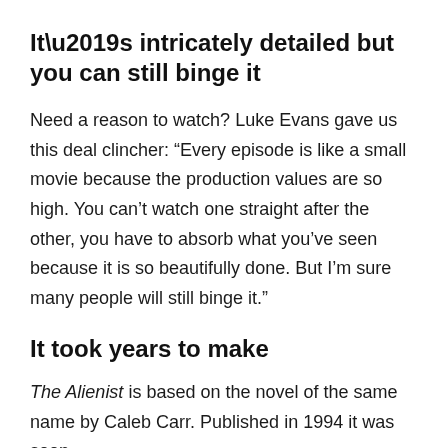It’s intricately detailed but you can still binge it
Need a reason to watch? Luke Evans gave us this deal clincher: “Every episode is like a small movie because the production values are so high. You can’t watch one straight after the other, you have to absorb what you’ve seen because it is so beautifully done. But I’m sure many people will still binge it.”
It took years to make
The Alienist is based on the novel of the same name by Caleb Carr. Published in 1994 it was soon